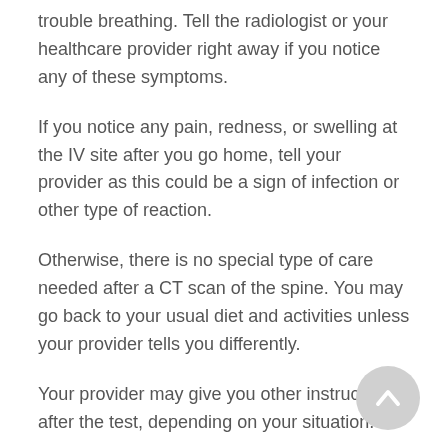trouble breathing. Tell the radiologist or your healthcare provider right away if you notice any of these symptoms.
If you notice any pain, redness, or swelling at the IV site after you go home, tell your provider as this could be a sign of infection or other type of reaction.
Otherwise, there is no special type of care needed after a CT scan of the spine. You may go back to your usual diet and activities unless your provider tells you differently.
Your provider may give you other instructions after the test, depending on your situation.
Next steps
Before you agree to the test or the procedure make